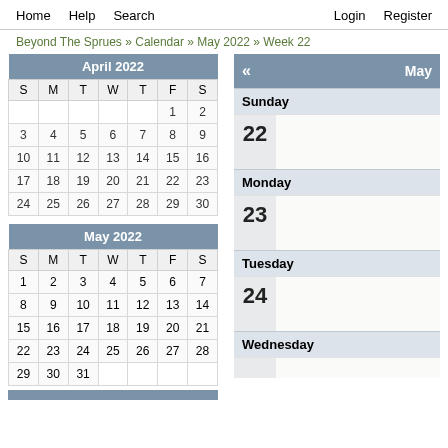Home  Help  Search  Login  Register
Beyond The Sprues » Calendar » May 2022 » Week 22
| S | M | T | W | T | F | S |
| --- | --- | --- | --- | --- | --- | --- |
|  |  |  |  |  | 1 | 2 |
| 3 | 4 | 5 | 6 | 7 | 8 | 9 |
| 10 | 11 | 12 | 13 | 14 | 15 | 16 |
| 17 | 18 | 19 | 20 | 21 | 22 | 23 |
| 24 | 25 | 26 | 27 | 28 | 29 | 30 |
| S | M | T | W | T | F | S |
| --- | --- | --- | --- | --- | --- | --- |
| 1 | 2 | 3 | 4 | 5 | 6 | 7 |
| 8 | 9 | 10 | 11 | 12 | 13 | 14 |
| 15 | 16 | 17 | 18 | 19 | 20 | 21 |
| 22 | 23 | 24 | 25 | 26 | 27 | 28 |
| 29 | 30 | 31 |  |  |  |  |
« May
Sunday
22
Monday
23
Tuesday
24
Wednesday